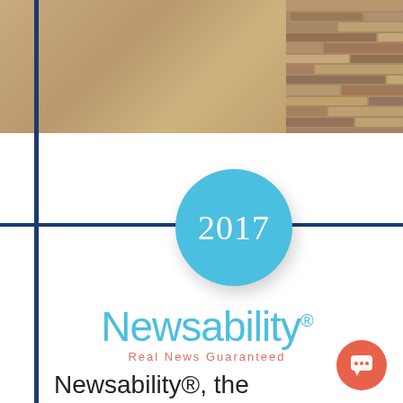[Figure (photo): Top banner with tan/beige and stone texture background images]
[Figure (illustration): Light blue circle containing the year '2017' in white serif font, with drop shadow, overlaid on a vertical dark navy blue line and horizontal dark navy blue line]
Newsability® Real News Guaranteed
Newsability®, the